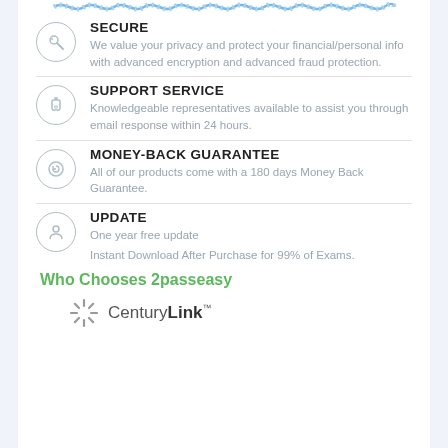[Figure (illustration): Wavy blue decorative border at top of white content card]
SECURE
We value your privacy and protect your financial/personal info with advanced encryption and advanced fraud protection.
SUPPORT SERVICE
Knowledgeable representatives available to assist you through email response within 24 hours.
MONEY-BACK GUARANTEE
All of our products come with a 180 days Money Back Guarantee.
UPDATE
One year free update
Instant Download After Purchase for 99% of Exams.
Who Chooses 2passeasy
[Figure (logo): CenturyLink logo with sunburst icon]